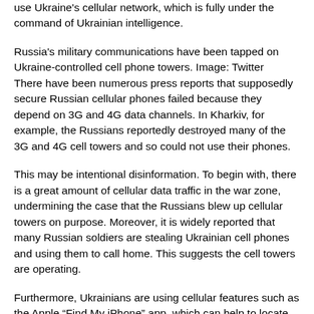use Ukraine's cellular network, which is fully under the command of Ukrainian intelligence.
Russia's military communications have been tapped on Ukraine-controlled cell phone towers. Image: Twitter
There have been numerous press reports that supposedly secure Russian cellular phones failed because they depend on 3G and 4G data channels. In Kharkiv, for example, the Russians reportedly destroyed many of the 3G and 4G cell towers and so could not use their phones.
This may be intentional disinformation. To begin with, there is a great amount of cellular data traffic in the war zone, undermining the case that the Russians blew up cellular towers on purpose. Moreover, it is widely reported that many Russian soldiers are stealing Ukrainian cell phones and using them to call home. This suggests the cell towers are operating.
Furthermore, Ukrainians are using cellular features such as the Apple “Find My iPhone” app, which can help to locate stolen phones but only works if the phones have access to cell towers.
It is also reported that the Russians are using StingRay systems,